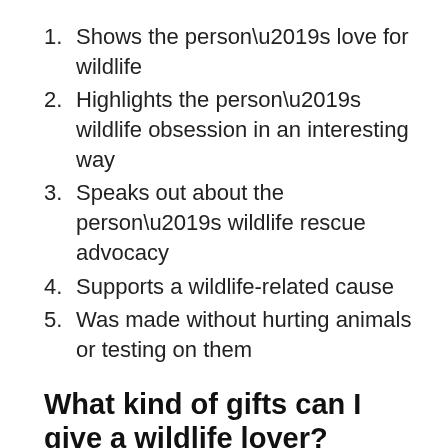1. Shows the person’s love for wildlife
2. Highlights the person’s wildlife obsession in an interesting way
3. Speaks out about the person’s wildlife rescue advocacy
4. Supports a wildlife-related cause
5. Was made without hurting animals or testing on them
What kind of gifts can I give a wildlife lover?
Browse through 20 wildlife-themed items from these four categories: fashion, accessories, home, and travel. Read up on each product, find out why a wildlife lover would like it, and decide if it’s something